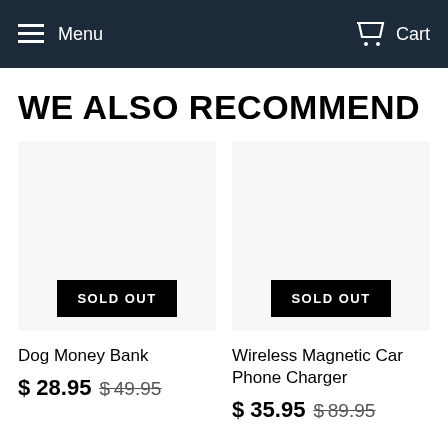Menu   Cart
WE ALSO RECOMMEND
[Figure (other): Product image area with SOLD OUT button for Dog Money Bank]
Dog Money Bank
$ 28.95  $49.95
[Figure (other): Product image area with SOLD OUT button for Wireless Magnetic Car Phone Charger]
Wireless Magnetic Car Phone Charger
$ 35.95  $89.95